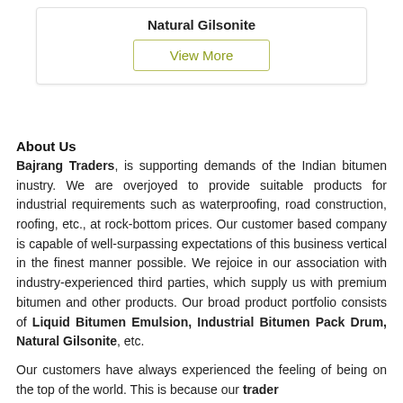Natural Gilsonite
View More
About Us
Bajrang Traders, is supporting demands of the Indian bitumen inustry. We are overjoyed to provide suitable products for industrial requirements such as waterproofing, road construction, roofing, etc., at rock-bottom prices. Our customer based company is capable of well-surpassing expectations of this business vertical in the finest manner possible. We rejoice in our association with industry-experienced third parties, which supply us with premium bitumen and other products. Our broad product portfolio consists of Liquid Bitumen Emulsion, Industrial Bitumen Pack Drum, Natural Gilsonite, etc.
Our customers have always experienced the feeling of being on the top of the world. This is because our trader